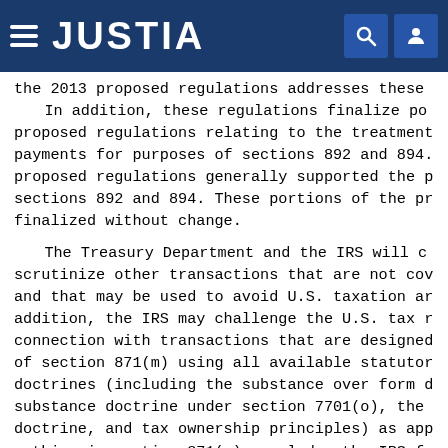JUSTIA
the 2013 proposed regulations addresses these In addition, these regulations finalize po proposed regulations relating to the treatment payments for purposes of sections 892 and 894. proposed regulations generally supported the p sections 892 and 894. These portions of the pr finalized without change.
The Treasury Department and the IRS will c scrutinize other transactions that are not cov and that may be used to avoid U.S. taxation ar addition, the IRS may challenge the U.S. tax r connection with transactions that are designed of section 871(m) using all available statutor doctrines (including the substance over form d substance doctrine under section 7701(o), the doctrine, and tax ownership principles) as app nothing in section 871(m) precludes the IRS fr